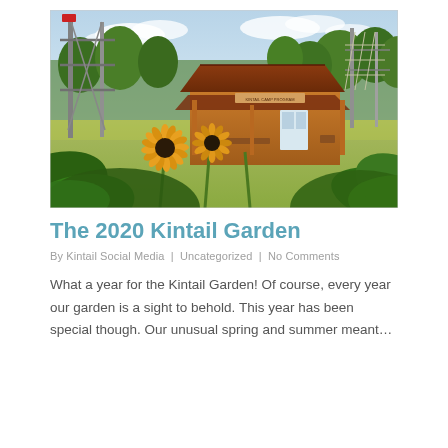[Figure (photo): Outdoor photo of a wooden cabin/building with a covered porch, surrounded by sunflowers in the foreground, green trees, and a tall ropes course tower structure in the background under a partly cloudy summer sky.]
The 2020 Kintail Garden
By Kintail Social Media | Uncategorized | No Comments
What a year for the Kintail Garden! Of course, every year our garden is a sight to behold. This year has been special though. Our unusual spring and summer meant…